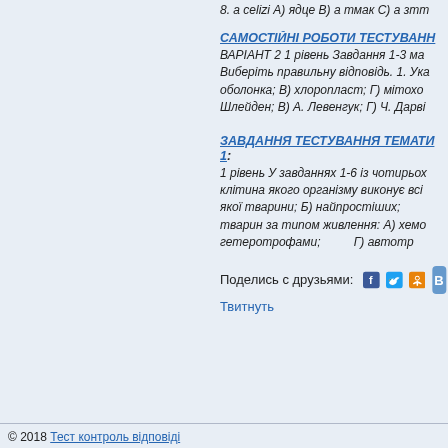8. а celizi А) ядце В) а тмак С) а зтт
САМОСТІЙНІ РОБОТИ ТЕСТУВАНН
ВАРІАНТ 2 1 рівень Завдання 1-3 ма Виберіть правильну відповідь. 1. Ука оболонка; В) хлоропласт; Г) мітохо Шлейден; В) А. Левенгук; Г) Ч. Дарві
ЗАВДАННЯ ТЕСТУВАННЯ ТЕМАТИ 1:
1 рівень У завданнях 1-6 із чотирьох клітина якого організму виконує всі якої тварини; Б) найпростіших; тварин за типом живлення: А) хемо гетеротрофами;         Г) автотр
Поделись с друзьями:
Твитнуть
© 2018 Тест контроль відповіді